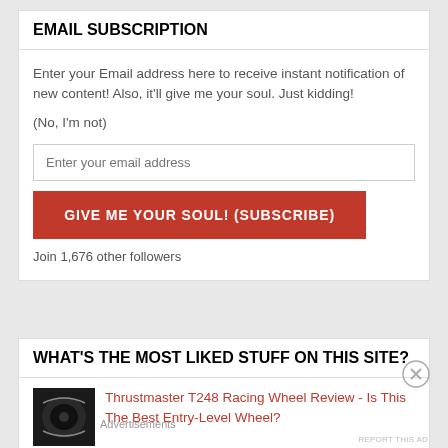EMAIL SUBSCRIPTION
Enter your Email address here to receive instant notification of new content! Also, it'll give me your soul. Just kidding!
(No, I'm not)
GIVE ME YOUR SOUL! (SUBSCRIBE)
Join 1,676 other followers
WHAT'S THE MOST LIKED STUFF ON THIS SITE?
Thrustmaster T248 Racing Wheel Review - Is This The Best Entry-Level Wheel?
Advertisements